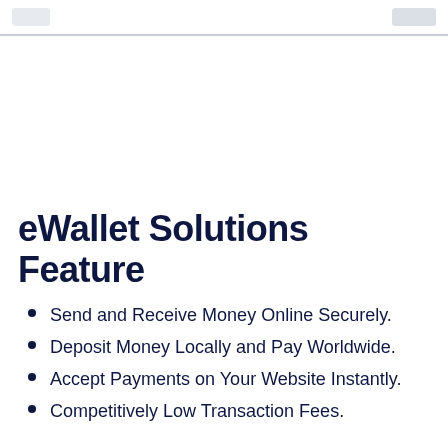eWallet Solutions Feature
Send and Receive Money Online Securely.
Deposit Money Locally and Pay Worldwide.
Accept Payments on Your Website Instantly.
Competitively Low Transaction Fees.